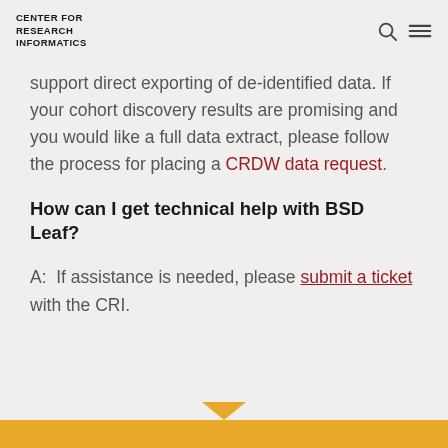CENTER FOR RESEARCH INFORMATICS
support direct exporting of de-identified data. If your cohort discovery results are promising and you would like a full data extract, please follow the process for placing a CRDW data request.
How can I get technical help with BSD Leaf?
A:  If assistance is needed, please submit a ticket with the CRI.